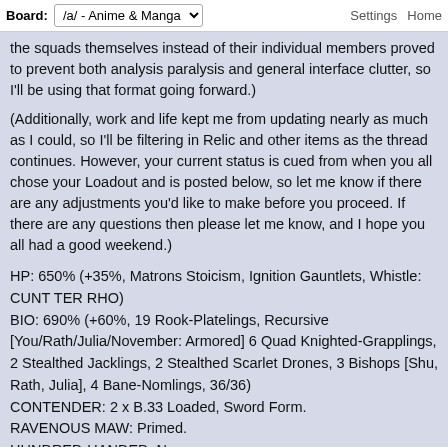Board: /a/ - Anime & Manga   Settings   Home
the squads themselves instead of their individual members proved to prevent both analysis paralysis and general interface clutter, so I'll be using that format going forward.)
(Additionally, work and life kept me from updating nearly as much as I could, so I'll be filtering in Relic and other items as the thread continues. However, your current status is cued from when you all chose your Loadout and is posted below, so let me know if there are any adjustments you'd like to make before you proceed. If there are any questions then please let me know, and I hope you all had a good weekend.)
HP: 650% (+35%, Matrons Stoicism, Ignition Gauntlets, Whistle: CUNT TER RHO)
BIO: 690% (+60%, 19 Rook-Platelings, Recursive [You/Rath/Julia/November: Armored] 6 Quad Knighted-Grapplings, 2 Stealthed Jacklings, 2 Stealthed Scarlet Drones, 3 Bishops [Shu, Rath, Julia], 4 Bane-Nomlings, 36/36)
CONTENDER: 2 x B.33 Loaded, Sword Form.
RAVENOUS MAW: Primed.
HUNDRED-HANDED: None.
ACT: 3/3
RATH HP: 860% (70%, Sui Tormentis, Gutgrab Daggers, 2400% ATK+, 2400% SPD+, 2400% DEF+)
JULIA HP: 880% (20%, Hydras Heart, Manus Caelorum, Cursas Alae, 30 Drones, BLOODY RIBBER, +8)